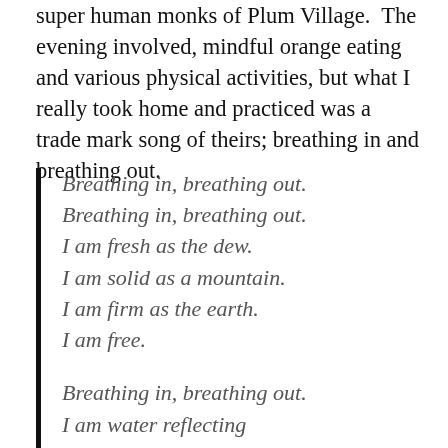super human monks of Plum Village.  The evening involved, mindful orange eating and various physical activities, but what I really took home and practiced was a trade mark song of theirs; breathing in and breathing out.
Breathing in, breathing out.
Breathing in, breathing out.
I am fresh as the dew.
I am solid as a mountain.
I am firm as the earth.
I am free.

Breathing in, breathing out.
I am water reflecting
What is real, what is true,